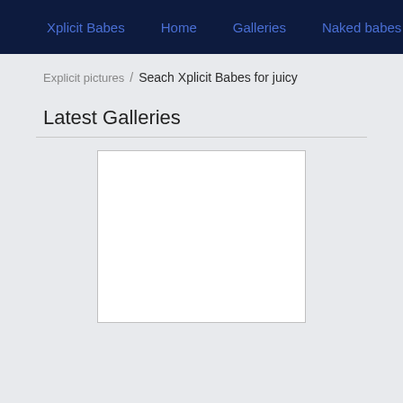Xplicit Babes  Home  Galleries  Naked babes
Explicit pictures / Seach Xplicit Babes for juicy
Latest Galleries
[Figure (other): White empty gallery image placeholder box with a thin border]